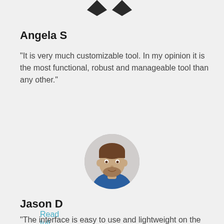[Figure (illustration): Partial heart/arrow icons at the top of the page]
Angela S
"It is very much customizable tool. In my opinion it is the most functional, robust and manageable tool than any other."
Read full review
[Figure (photo): Circular profile photo of a young man with brown hair and beard, wearing a blue shirt]
Jason D
"The interface is easy to use and lightweight on the